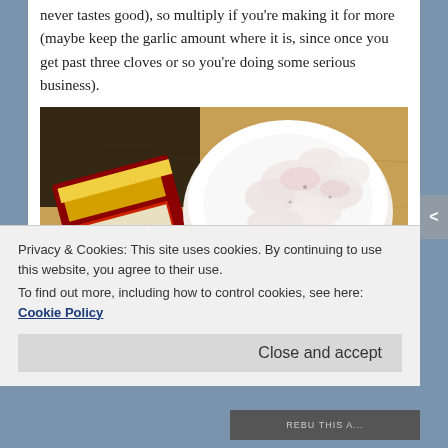never tastes good), so multiply if you're making it for more (maybe keep the garlic amount where it is, since once you get past three cloves or so you're doing some serious business).
[Figure (photo): Food photo showing a white bowl of raw fish pieces, sliced garlic cloves scattered on a wooden cutting board, and a red President butter package in the background.]
Privacy & Cookies: This site uses cookies. By continuing to use this website, you agree to their use.
To find out more, including how to control cookies, see here: Cookie Policy